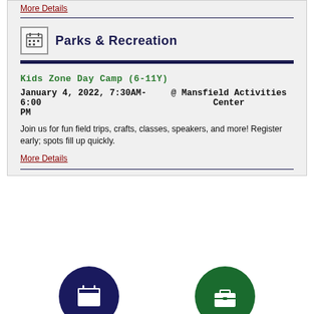More Details
Parks & Recreation
Kids Zone Day Camp (6-11Y)
January 4, 2022, 7:30AM-6:00 PM @ Mansfield Activities Center
Join us for fun field trips, crafts, classes, speakers, and more! Register early; spots fill up quickly.
More Details
[Figure (illustration): Two circular icon buttons at the bottom: a navy blue circle with a calendar icon on the left, and a dark green circle with a briefcase icon on the right.]